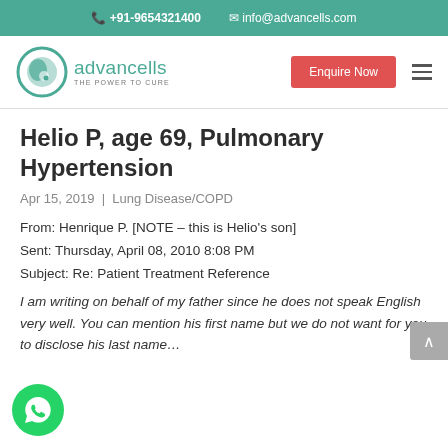+91-9654321400  info@advancells.com
[Figure (logo): Advancells logo with circular green icon, text 'advancells THE POWER TO CURE', and red 'Enquire Now' button with hamburger menu icon]
Helio P, age 69, Pulmonary Hypertension
Apr 15, 2019 | Lung Disease/COPD
From: Henrique P. [NOTE – this is Helio's son]
Sent: Thursday, April 08, 2010 8:08 PM
Subject: Re: Patient Treatment Reference
I am writing on behalf of my father since he does not speak English very well. You can mention his first name but we do not want for you to disclose his last name...